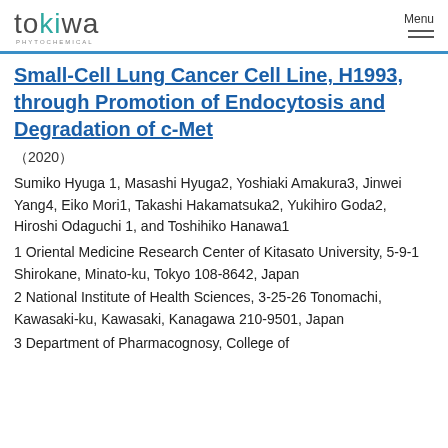tokiwa PHYTOCHEMICAL | Menu
Small-Cell Lung Cancer Cell Line, H1993, through Promotion of Endocytosis and Degradation of c-Met
（2020）
Sumiko Hyuga 1, Masashi Hyuga2, Yoshiaki Amakura3, Jinwei Yang4, Eiko Mori1, Takashi Hakamatsuka2, Yukihiro Goda2, Hiroshi Odaguchi 1, and Toshihiko Hanawa1
1 Oriental Medicine Research Center of Kitasato University, 5-9-1 Shirokane, Minato-ku, Tokyo 108-8642, Japan
2 National Institute of Health Sciences, 3-25-26 Tonomachi, Kawasaki-ku, Kawasaki, Kanagawa 210-9501, Japan
3 Department of Pharmacognosy, College of